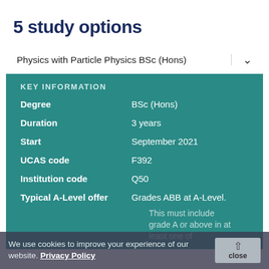5 study options
Physics with Particle Physics BSc (Hons)
KEY INFORMATION
Degree    BSc (Hons)
Duration    3 years
Start    September 2021
UCAS code    F392
Institution code    Q50
Typical A-Level offer    Grades ABB at A-Level. This must include grade A or above in at least one of
We use cookies to improve your experience of our website. Privacy Policy